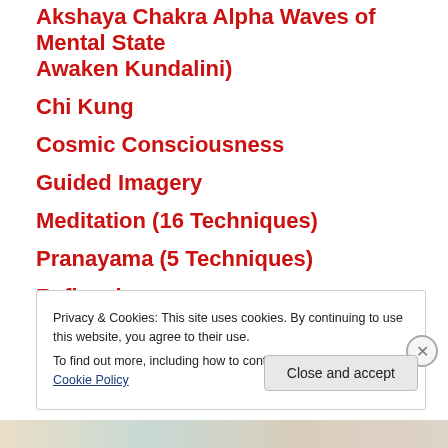Akshaya Chakra Alpha Waves of Mental State Awaken Kundalini)
Chi Kung
Cosmic Consciousness
Guided Imagery
Meditation (16 Techniques)
Pranayama (5 Techniques)
Reflexology
Tantrik Kriya Yoga
Privacy & Cookies: This site uses cookies. By continuing to use this website, you agree to their use.
To find out more, including how to control cookies, see here: Cookie Policy
Close and accept